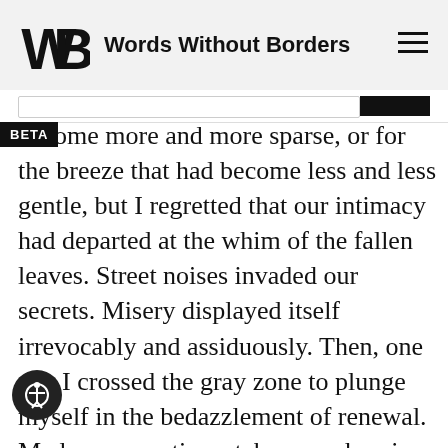Words Without Borders
become more and more sparse, or for the breeze that had become less and less gentle, but I regretted that our intimacy had departed at the whim of the fallen leaves. Street noises invaded our secrets. Misery displayed itself irrevocably and assiduously. Then, one day I crossed the gray zone to plunge myself in the bedazzlement of renewal. Madness sometimes takes on a heroic aspect. My hand, exhausted from so much begging, calmly picked up a stone. I chose a very shiny one, with no cracks or unsightly gouges. Of serviceable size, neither minuscule nor enormous. Just the size suitable to strike high and